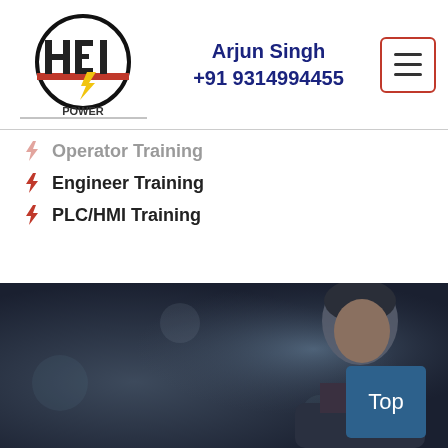[Figure (logo): HEI Power logo — circle with stylized HEI text and red lightning bolt, POWER text below]
Arjun Singh
+91 9314994455
[Figure (other): Hamburger menu button with three horizontal lines, red border]
Operator Training
Engineer Training
PLC/HMI Training
[Figure (photo): Dark blurred background with partial face of a young man on the right side, with a teal/blue 'Top' button overlay in the lower right]